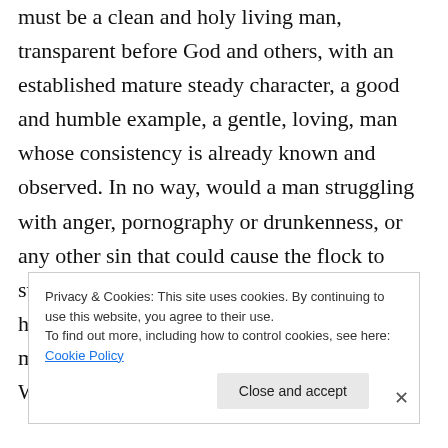must be a clean and holy living man, transparent before God and others, with an established mature steady character, a good and humble example, a gentle, loving, man whose consistency is already known and observed. In no way, would a man struggling with anger, pornography or drunkenness, or any other sin that could cause the flock to stumble, be qualified for leadership, because he's not ready or established in a steady mature walk with God, according to His Word. That doesn't mean they
Privacy & Cookies: This site uses cookies. By continuing to use this website, you agree to their use.
To find out more, including how to control cookies, see here: Cookie Policy
The Platform Where